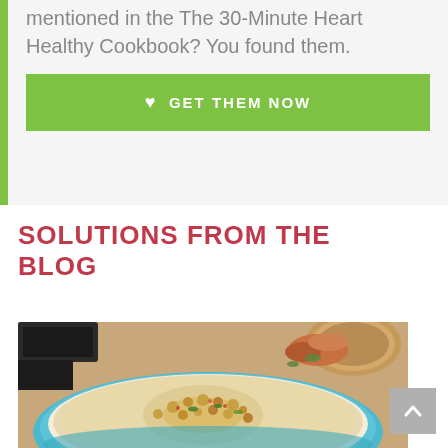mentioned in the The 30-Minute Heart Healthy Cookbook? You found them.
GET THEM NOW
SOLUTIONS FROM THE BLOG
[Figure (photo): A bowl of hummus topped with chickpeas and spices, with pita bread and food in the background.]